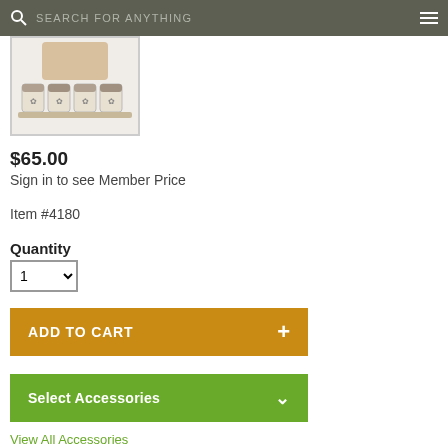SEARCH FOR ANYTHING
[Figure (photo): Product image showing jars/containers in a tray]
$65.00
Sign in to see Member Price
Item #4180
Quantity
ADD TO CART
Select Accessories
View All Accessories